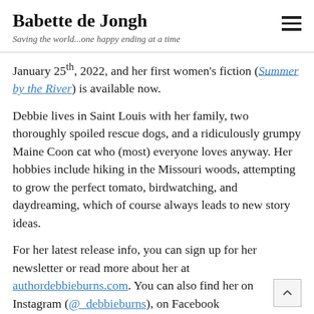Babette de Jongh — Saving the world...one happy ending at a time
January 25th, 2022, and her first women's fiction (Summer by the River) is available now.
Debbie lives in Saint Louis with her family, two thoroughly spoiled rescue dogs, and a ridiculously grumpy Maine Coon cat who (most) everyone loves anyway. Her hobbies include hiking in the Missouri woods, attempting to grow the perfect tomato, birdwatching, and daydreaming, which of course always leads to new story ideas.
For her latest release info, you can sign up for her newsletter or read more about her at authordebbieburns.com. You can also find her on Instagram (@_debbieburns), on Facebook (@authordebbieburns), on BookBub (@authorDebbiBurns).